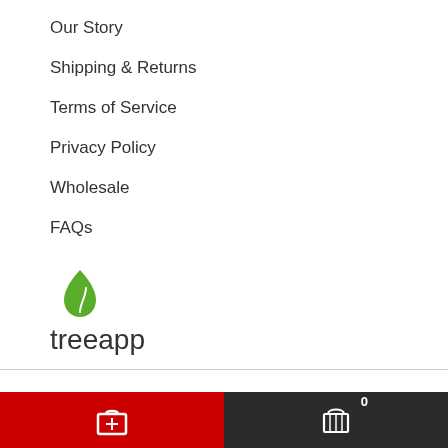Our Story
Shipping & Returns
Terms of Service
Privacy Policy
Wholesale
FAQs
[Figure (logo): Treeapp logo: green leaf/teardrop icon above the lowercase text 'treeapp']
JOIN THE PACK
Rhimani donates towards conservation and education.